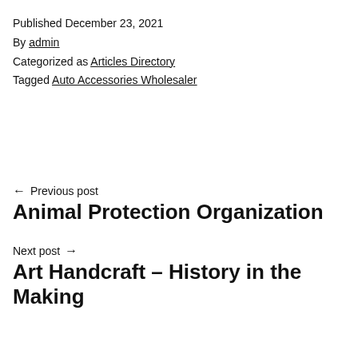Published December 23, 2021
By admin
Categorized as Articles Directory
Tagged Auto Accessories Wholesaler
← Previous post
Animal Protection Organization
Next post →
Art Handcraft – History in the Making